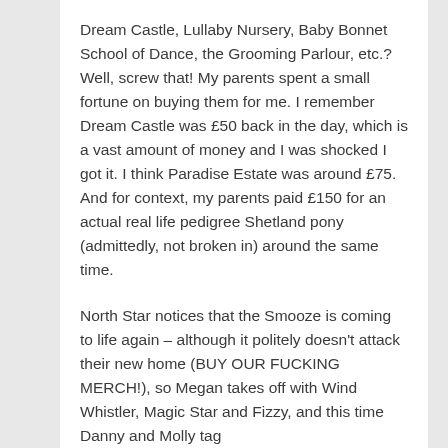Dream Castle, Lullaby Nursery, Baby Bonnet School of Dance, the Grooming Parlour, etc.? Well, screw that! My parents spent a small fortune on buying them for me. I remember Dream Castle was £50 back in the day, which is a vast amount of money and I was shocked I got it. I think Paradise Estate was around £75. And for context, my parents paid £150 for an actual real life pedigree Shetland pony (admittedly, not broken in) around the same time.
North Star notices that the Smooze is coming to life again – although it politely doesn't attack their new home (BUY OUR FUCKING MERCH!), so Megan takes off with Wind Whistler, Magic Star and Fizzy, and this time Danny and Molly tag